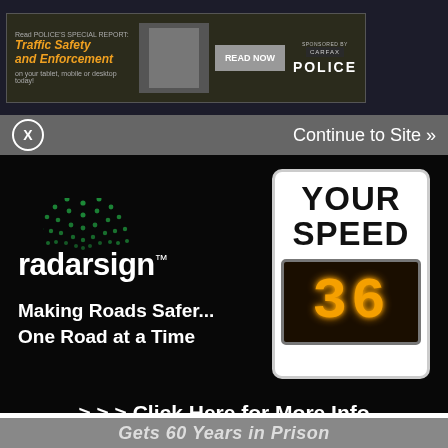[Figure (screenshot): Top banner advertisement for Police magazine's special report on Traffic Safety and Enforcement, with a Read Now button and Police logo/CarFax branding]
Continue to Site »
[Figure (logo): Radarsign logo with green radar arc graphic above text 'radarsign™' on black background, alongside a speed feedback sign showing 'YOUR SPEED' and the number 36 in amber LED display]
Making Roads Safer... One Road at a Time
> > > Click Here for More Info
Gets 60 Years in Prison